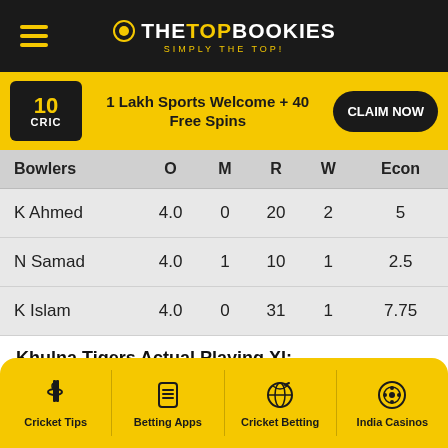THE TOP BOOKIES — SIMPLY THE TOP!
[Figure (infographic): 10CRIC advertisement banner: 1 Lakh Sports Welcome + 40 Free Spins, with CLAIM NOW button]
| Bowlers | O | M | R | W | Econ |
| --- | --- | --- | --- | --- | --- |
| K Ahmed | 4.0 | 0 | 20 | 2 | 5 |
| N Samad | 4.0 | 1 | 10 | 1 | 2.5 |
| K Islam | 4.0 | 0 | 31 | 1 | 7.75 |
Khulna Tigers Actual Playing XI:
Cricket Tips | Betting Apps | Cricket Betting | India Casinos